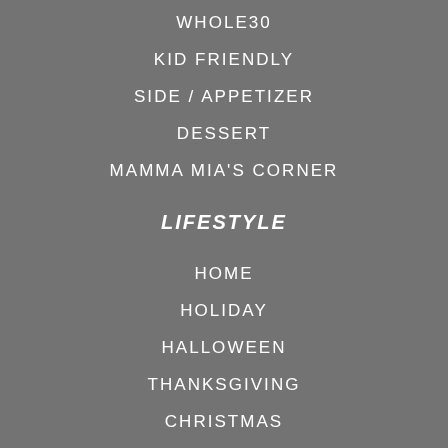WHOLE30
KID FRIENDLY
SIDE / APPETIZER
DESSERT
MAMMA MIA'S CORNER
LIFESTYLE
HOME
HOLIDAY
HALLOWEEN
THANKSGIVING
CHRISTMAS